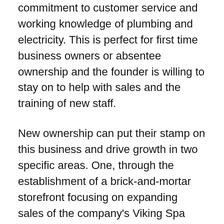commitment to customer service and working knowledge of plumbing and electricity. This is perfect for first time business owners or absentee ownership and the founder is willing to stay on to help with sales and the training of new staff.
New ownership can put their stamp on this business and drive growth in two specific areas. One, through the establishment of a brick-and-mortar storefront focusing on expanding sales of the company's Viking Spa Dealership. And two, through the establishment of a franchise. The need for its services and its brand recognition is strong throughout the country as current ownership routinely receives service request calls from states outside its service